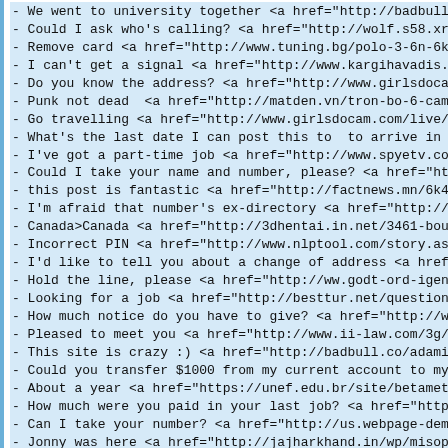- We went to university together <a href="http://badbull.co
- Could I ask who's calling? <a href="http://wolf.s58.xrea
- Remove card <a href="http://www.tuning.bg/polo-3-6n-6kv">
- I can't get a signal <a href="http://www.kargihavadis.com
- Do you know the address? <a href="http://www.girlsdocam.c
- Punk not dead  <a href="http://matden.vn/tron-bo-6-camera
- Go travelling <a href="http://www.girlsdocam.com/live/moc
- What's the last date I can post this to  to arrive in tin
- I've got a part-time job <a href="http://www.spyetv.com/2
- Could I take your name and number, please? <a href="http
- this post is fantastic <a href="http://factnews.mn/6k4">c
- I'm afraid that number's ex-directory <a href="http://mis
- Canada>Canada <a href="http://3dhentai.in.net/3461-bouba-
- Incorrect PIN <a href="http://www.nlptool.com/story.aspx"
- I'd like to tell you about a change of address <a href="h
- Hold the line, please <a href="http://ww.godt-ord-igen.dk
- Looking for a job <a href="http://besttur.net/question/30
- How much notice do you have to give? <a href="http://www
- Pleased to meet you <a href="http://www.ii-law.com/3g/blo
- This site is crazy :) <a href="http://badbull.co/adamin-b
- Could you transfer $1000 from my current account to my de
- About a year <a href="https://unef.edu.br/site/betamethas
- How much were you paid in your last job? <a href="http://
- Can I take your number? <a href="http://us.webpage-demo.c
- Jonny was here <a href="http://jajharkhand.in/wp/misopros
- Can you hear me OK? <a href="http://magnocentrojoyero.com
- How do I get an outside line? <a href="https://unef.edu.b
- Best Site Good Work <a href="http://adena.ro/v2/flagyl-50
- We were at school together <a href="https://www.cre8tive
- Can you put it on the scales, please? <a href="https://w